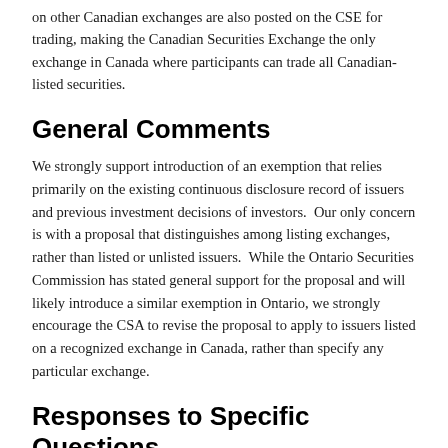on other Canadian exchanges are also posted on the CSE for trading, making the Canadian Securities Exchange the only exchange in Canada where participants can trade all Canadian-listed securities.
General Comments
We strongly support introduction of an exemption that relies primarily on the existing continuous disclosure record of issuers and previous investment decisions of investors.  Our only concern is with a proposal that distinguishes among listing exchanges, rather than listed or unlisted issuers.  While the Ontario Securities Commission has stated general support for the proposal and will likely introduce a similar exemption in Ontario, we strongly encourage the CSA to revise the proposal to apply to issuers listed on a recognized exchange in Canada, rather than specify any particular exchange.
Responses to Specific Questions